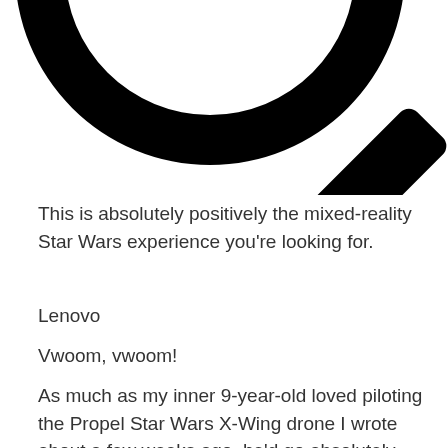[Figure (illustration): Large black magnifying glass icon, partially cropped, showing the circular lens and handle on a white background.]
This is absolutely positively the mixed-reality Star Wars experience you're looking for.
Lenovo
Vwoom, vwoom!
As much as my inner 9-year-old loved piloting the Propel Star Wars X-Wing drone I wrote about a few weeks ago, he'd go absolutely bonkers for today's deal.